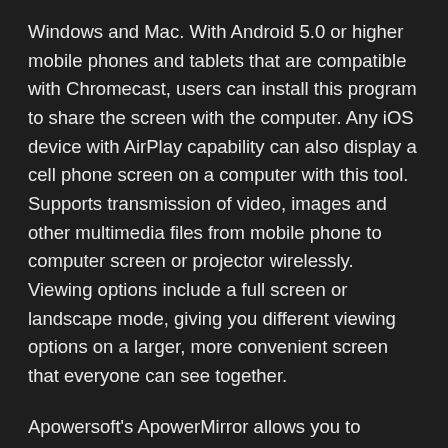Windows and Mac. With Android 5.0 or higher mobile phones and tablets that are compatible with Chromecast, users can install this program to share the screen with the computer. Any iOS device with AirPlay capability can also display a cell phone screen on a computer with this tool. Supports transmission of video, images and other multimedia files from mobile phone to computer screen or projector wirelessly. Viewing options include a full screen or landscape mode, giving you different viewing options on a larger, more convenient screen that everyone can see together.
Apowersoft's ApowerMirror allows you to control your Android device from a PC seamlessly. Easily interact with the phone screen with your mouse and keyboard, hackolade crack - Free Activators WhatsApp and SMS